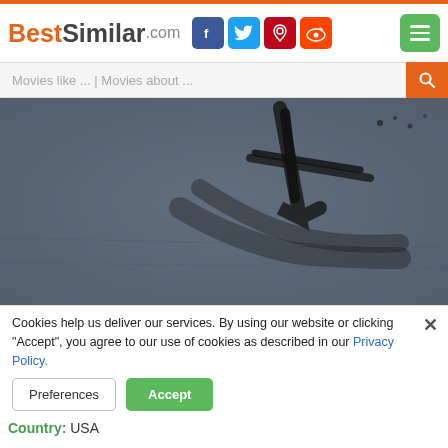BestSimilar.com
Movies like ... | Movies about ...
[Figure (photo): Dark grayscale movie still showing shadow of a cross or bird-like shape on rough textured ground]
TRAILER
Genre: Drama, Fantasy, Horror, Mystery, Thriller
Country: USA
Cookies help us deliver our services. By using our website or clicking "Accept", you agree to our use of cookies as described in our Privacy Policy.
Preferences
Accept